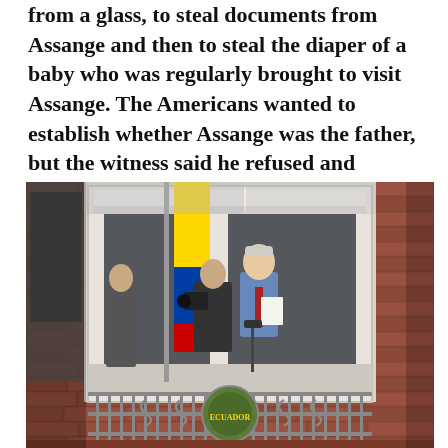from a glass, to steal documents from Assange and then to steal the diaper of a baby who was regularly brought to visit Assange. The Americans wanted to establish whether Assange was the father, but the witness said he refused and instead alerted the mother not to bring the child back to the embassy.
[Figure (photo): Julian Assange standing on the balcony of the Ecuadorian Embassy in London, holding papers and speaking at a microphone, with a cameraman beside him and the Ecuadorian flag visible. The embassy building is red brick with white-framed windows and a decorative iron balcony railing bearing the Ecuadorian coat of arms.]